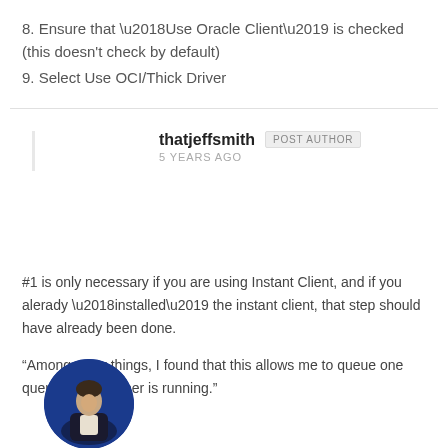8. Ensure that ‘Use Oracle Client’ is checked (this doesn't check by default)
9. Select Use OCI/Thick Driver
thatjeffsmith   POST AUTHOR
5 YEARS AGO
[Figure (photo): Circular avatar photo of a man in a dark jacket on a blue background]
#1 is only necessary if you are using Instant Client, and if you alerady ‘installed’ the instant client, that step should have already been done.
“Among other things, I found that this allows me to queue one query while another is running.”